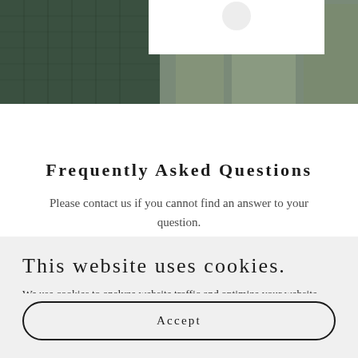[Figure (photo): Hero image showing a city building with glass facade in dark green/teal tones, with a white overlay element at the top center]
Frequently Asked Questions
Please contact us if you cannot find an answer to your question.
This website uses cookies.
We use cookies to analyze website traffic and optimize your website experience. By accepting our use of cookies, your data will be aggregated with all other user data.
Accept